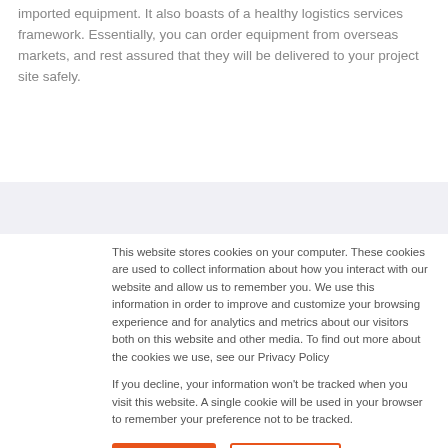imported equipment. It also boasts of a healthy logistics services framework. Essentially, you can order equipment from overseas markets, and rest assured that they will be delivered to your project site safely.
This website stores cookies on your computer. These cookies are used to collect information about how you interact with our website and allow us to remember you. We use this information in order to improve and customize your browsing experience and for analytics and metrics about our visitors both on this website and other media. To find out more about the cookies we use, see our Privacy Policy
If you decline, your information won't be tracked when you visit this website. A single cookie will be used in your browser to remember your preference not to be tracked.